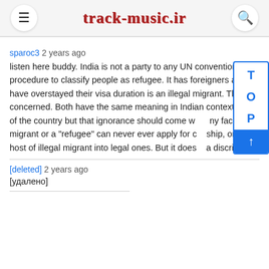track-music.ir
sparoc3 2 years ago
listen here buddy. India is not a party to any UN convention rega procedure to classify people as refugee. It has foreigners act and have overstayed their visa duration is an illegal migrant. There is concerned. Both have the same meaning in Indian context. I know of the country but that ignorance should come w ny facade o migrant or a "refugee" can never ever apply for c ship, only host of illegal migrant into legal ones. But it does a discrimi
[deleted] 2 years ago
[удалено]